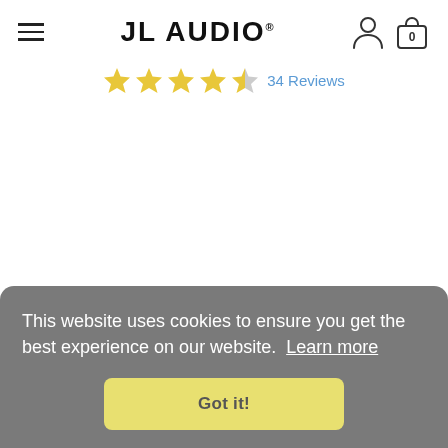JL AUDIO
4.5 stars · 34 Reviews
This website uses cookies to ensure you get the best experience on our website. Learn more
Got it!